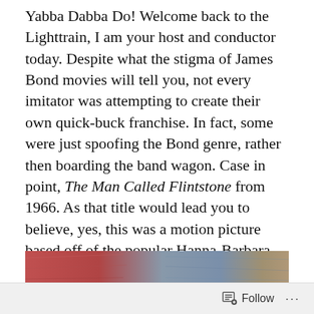Yabba Dabba Do! Welcome back to the Lighttrain, I am your host and conductor today. Despite what the stigma of James Bond movies will tell you, not every imitator was attempting to create their own quick-buck franchise. In fact, some were just spoofing the Bond genre, rather then boarding the band wagon. Case in point, The Man Called Flintstone from 1966. As that title would lead you to believe, yes, this was a motion picture based off of the popular Hanna-Barbara animated series The Flintstones. What in the name of Betty Rubble was this really, though? Buckle your seat belts, we're about to find out. Let's get this show on the road!
[Figure (photo): Partial image showing colorful textured surfaces in red, blue, and tan tones, likely a movie still or promotional image.]
Follow ...